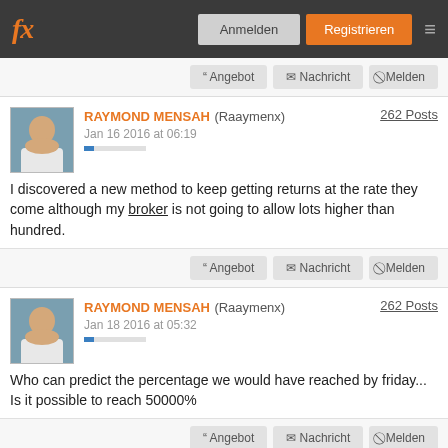fx | Anmelden | Registrieren
Angebot | Nachricht | Melden
RAYMOND MENSAH (Raaymenx) Jan 16 2016 at 06:19 — 262 Posts
I discovered a new method to keep getting returns at the rate they come although my broker is not going to allow lots higher than hundred.
Angebot | Nachricht | Melden
RAYMOND MENSAH (Raaymenx) Jan 18 2016 at 05:32 — 262 Posts
Who can predict the percentage we would have reached by friday... Is it possible to reach 50000%
Angebot | Nachricht | Melden
RAYMOND MENSAH (Raaymenx) Jan 22 2016 at 10:06 — 262 Posts